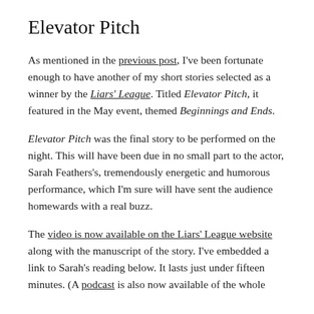Elevator Pitch
As mentioned in the previous post, I've been fortunate enough to have another of my short stories selected as a winner by the Liars' League. Titled Elevator Pitch, it featured in the May event, themed Beginnings and Ends.
Elevator Pitch was the final story to be performed on the night. This will have been due in no small part to the actor, Sarah Feathers's, tremendously energetic and humorous performance, which I'm sure will have sent the audience homewards with a real buzz.
The video is now available on the Liars' League website along with the manuscript of the story. I've embedded a link to Sarah's reading below. It lasts just under fifteen minutes. (A podcast is also now available of the whole